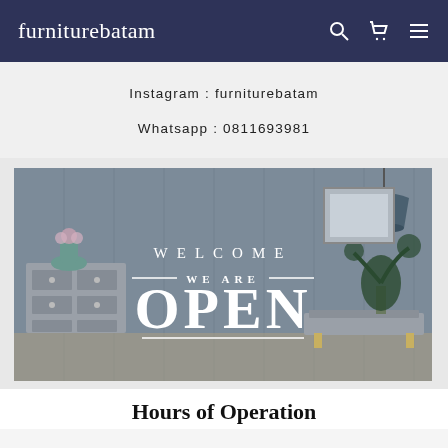furniturebatam
Instagram : furniturebatam
Whatsapp : 0811693981
[Figure (photo): Interior room photo with furniture (dresser, bench, plant, lamp) and overlaid text: WELCOME / WE ARE / OPEN]
Hours of Operation